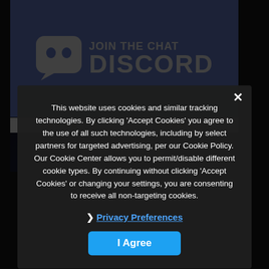[Figure (logo): Discord 'Join the Chat' banner with Discord logo on purple/periwinkle background]
[Figure (screenshot): Star ratings row showing two groups of stars with counts (100) and (33)]
[Figure (screenshot): Binance branded dark image strip with yellow Binance logo text]
This website uses cookies and similar tracking technologies. By clicking 'Accept Cookies' you agree to the use of all such technologies, including by select partners for targeted advertising, per our Cookie Policy. Our Cookie Center allows you to permit/disable different cookie types. By continuing without clicking 'Accept Cookies' or changing your settings, you are consenting to receive all non-targeting cookies.
› Privacy Preferences
I Agree